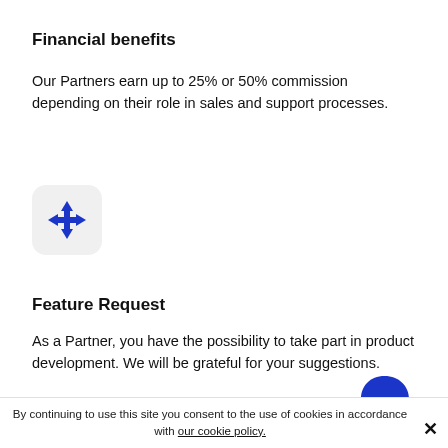Financial benefits
Our Partners earn up to 25% or 50% commission depending on their role in sales and support processes.
[Figure (illustration): Blue four-directional move/drag arrow icon on a light grey rounded square background]
Feature Request
As a Partner, you have the possibility to take part in product development. We will be grateful for your suggestions.
By continuing to use this site you consent to the use of cookies in accordance with our cookie policy.